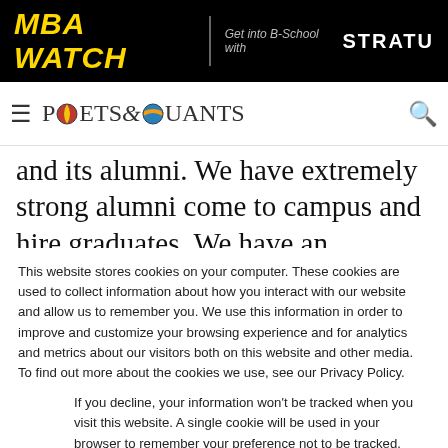MBA WATCH | Get into B-School with STRATU
[Figure (logo): Poets & Quants logo with navigation bar including hamburger menu and search icon]
and its alumni. We have extremely strong alumni come to campus and hire graduates. We have an amazing startup garage, for example, where a lot
This website stores cookies on your computer. These cookies are used to collect information about how you interact with our website and allow us to remember you. We use this information in order to improve and customize your browsing experience and for analytics and metrics about our visitors both on this website and other media. To find out more about the cookies we use, see our Privacy Policy.
If you decline, your information won't be tracked when you visit this website. A single cookie will be used in your browser to remember your preference not to be tracked.